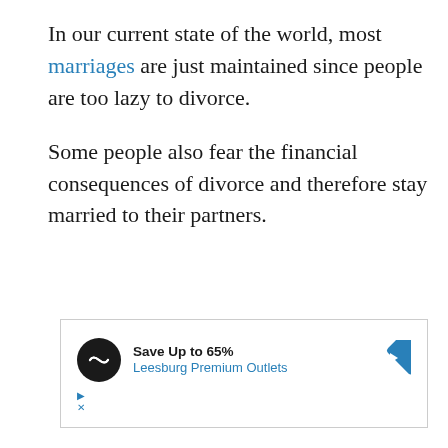In our current state of the world, most marriages are just maintained since people are too lazy to divorce.
Some people also fear the financial consequences of divorce and therefore stay married to their partners.
[Figure (other): Advertisement box for Leesburg Premium Outlets with black circular logo showing infinity-like icon, text 'Save Up to 65%' and 'Leesburg Premium Outlets' in blue, and a blue diamond-shaped arrow icon on the right. Below the ad are small play and close (X) control icons.]